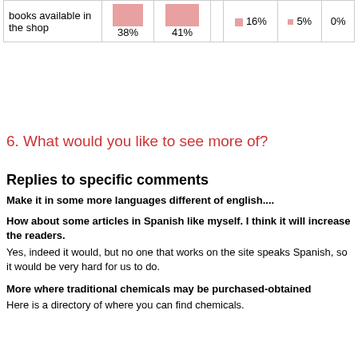|  |  |  |  |  |  |  |
| --- | --- | --- | --- | --- | --- | --- |
| books available in the shop | 38% | 41% |  | 16% | 5% | 0% |
6. What would you like to see more of?
Replies to specific comments
Make it in some more languages different of english....
How about some articles in Spanish like myself. I think it will increase the readers.
Yes, indeed it would, but no one that works on the site speaks Spanish, so it would be very hard for us to do.
More where traditional chemicals may be purchased-obtained
Here is a directory of where you can find chemicals.